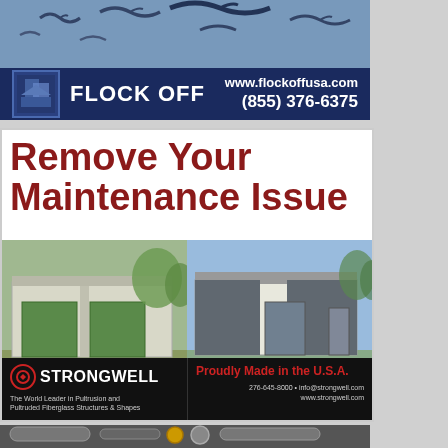[Figure (photo): Flock Off advertisement banner: birds silhouette at top, dark navy blue bar below with logo, brand name 'FLOCK OFF', website www.flockoffusa.com and phone (855) 376-6375]
[Figure (photo): Strongwell advertisement: 'Remove Your Maintenance Issue' headline in red, before/after photos of a building with static walls vs removable Strongwell FRP, Strongwell logo, 'Proudly Made in the U.S.A.', contact info 276-645-8000, info@strongwell.com, www.strongwell.com]
[Figure (photo): Partial bottom advertisement showing industrial equipment/machinery, partially cropped]